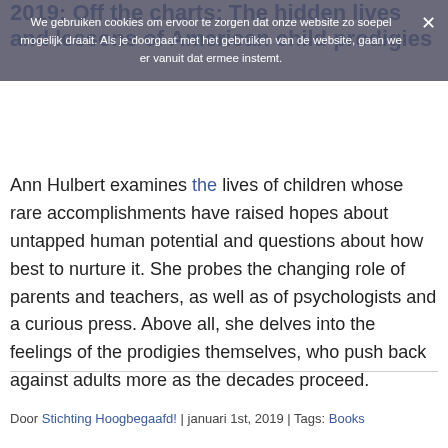2019: Off the charts: The hidden lives and lessons of American child prodigies
We gebruiken cookies om ervoor te zorgen dat onze website zo soepel mogelijk draait. Als je doorgaat met het gebruiken van de website, gaan we er vanuit dat ermee instemt.
Ann Hulbert examines the lives of children whose rare accomplishments have raised hopes about untapped human potential and questions about how best to nurture it. She probes the changing role of parents and teachers, as well as of psychologists and a curious press. Above all, she delves into the feelings of the prodigies themselves, who push back against adults more as the decades proceed.
Door Stichting Hoogbegaafd! | januari 1st, 2019 | Tags: Books